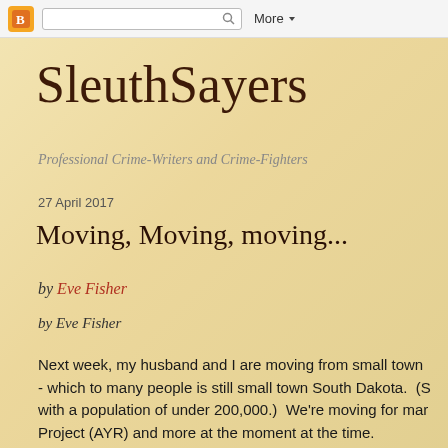[Figure (screenshot): Blogger navbar with orange icon, search box, and More button]
SleuthSayers
Professional Crime-Writers and Crime-Fighters
27 April 2017
Moving, Moving, moving...
by Eve Fisher
by Eve Fisher
Next week, my husband and I are moving from small town - which to many people is still small town South Dakota. (S with a population of under 200,000.) We're moving for mar Project (AYR) and more at the moment at the time.